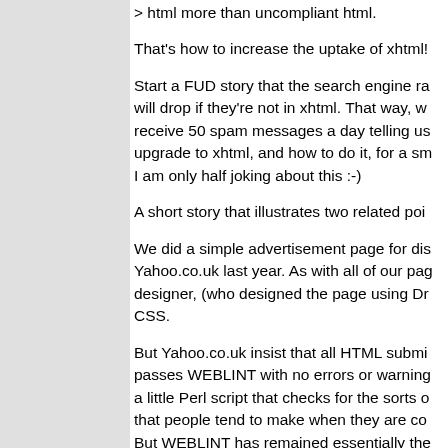> html more than uncompliant html.
That's how to increase the uptake of xhtml!
Start a FUD story that the search engine rankings will drop if they're not in xhtml. That way, we'll receive 50 spam messages a day telling us to upgrade to xhtml, and how to do it, for a small fee. I am only half joking about this :-)
A short story that illustrates two related points.
We did a simple advertisement page for display on Yahoo.co.uk last year. As with all of our pages, our designer, (who designed the page using Dreamweaver) CSS.
But Yahoo.co.uk insist that all HTML submitted passes WEBLINT with no errors or warnings. WEBLINT is a little Perl script that checks for the sorts of errors that people tend to make when they are coding HTML. But WEBLINT has remained essentially the same for 5 years, so anything invented in the last year triggers warnings. Here is one of the multitude of similar online version of WEBLINT.